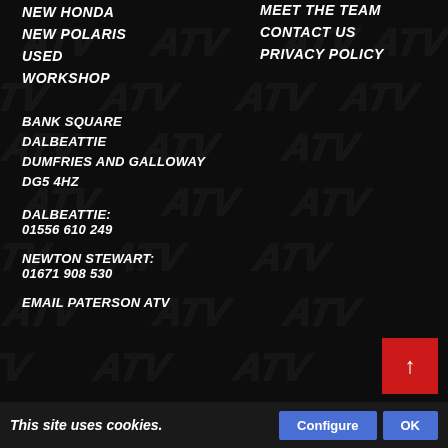NEW HONDA
NEW POLARIS
USED
WORKSHOP
MEET THE TEAM
CONTACT US
PRIVACY POLICY
BANK SQUARE
DALBEATTIE
DUMFRIES AND GALLOWAY
DG5 4HZ
DALBEATTIE:
01556 610 249
NEWTON STEWART:
01671 908 530
EMAIL PATERSON ATV
This site uses cookies.
Configure
OK